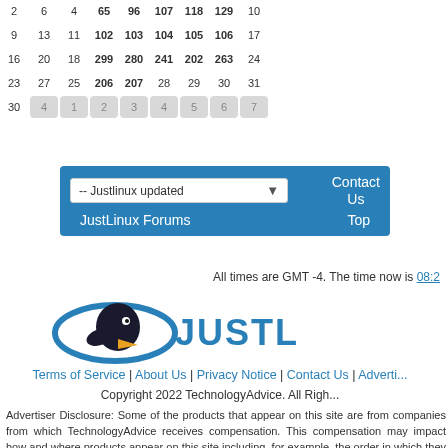| 2 | 6 | 4 | 65 | 96 | 107 | 118 | 129 | 10 |
| 9 | 13 | 11 | 102 | 103 | 104 | 105 | 106 | 17 |
| 16 | 20 | 18 | 299 | 280 | 241 | 202 | 263 | 24 |
| 23 | 27 | 25 | 206 | 207 | 28 | 29 | 30 | 31 |
| 30 | 4 | 1 | 2 | 3 | 4 | 5 | 6 | 7 |
[Figure (screenshot): Navigation box with dropdown '-- Justlinux updated', Contact Us link, JustLinux Forums link, and Top link on blue background]
All times are GMT -4. The time now is 08:2...
[Figure (logo): JustLinux logo with penguin bird graphic and JUSTL... text]
Terms of Service | About Us | Privacy Notice | Contact Us | Adverti...
Copyright 2022 TechnologyAdvice. All Righ...
Advertiser Disclosure: Some of the products that appear on this site are from companies from which TechnologyAdvice receives compensation. This compensation may impact how and where products appear on this site including, for example, the order in which they appear. TechnologyAdvice does not represent all companies or all types of products available in the marketplace.